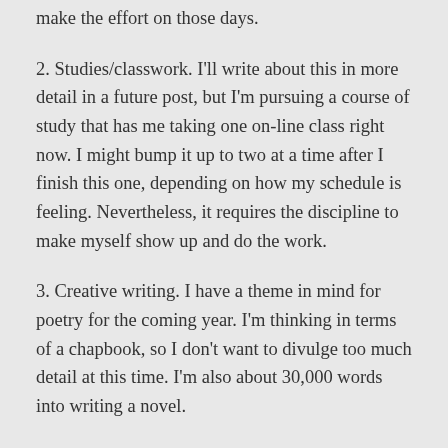make the effort on those days.
2. Studies/classwork. I'll write about this in more detail in a future post, but I'm pursuing a course of study that has me taking one on-line class right now. I might bump it up to two at a time after I finish this one, depending on how my schedule is feeling. Nevertheless, it requires the discipline to make myself show up and do the work.
3. Creative writing. I have a theme in mind for poetry for the coming year. I'm thinking in terms of a chapbook, so I don't want to divulge too much detail at this time. I'm also about 30,000 words into writing a novel.